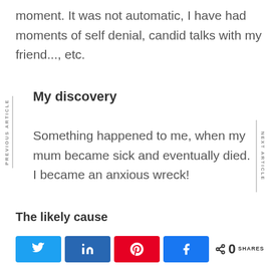moment. It was not automatic, I have had moments of self denial, candid talks with my friend..., etc.
My discovery
Something happened to me, when my mum became sick and eventually died. I became an anxious wreck!
The likely cause
[Figure (other): Social share buttons: Twitter, LinkedIn, Pinterest, Facebook, and a share count showing 0 SHARES]